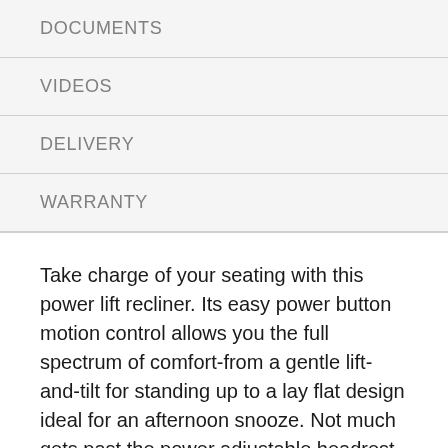DOCUMENTS
VIDEOS
DELIVERY
WARRANTY
Take charge of your seating with this power lift recliner. Its easy power button motion control allows you the full spectrum of comfort-from a gentle lift-and-tilt for standing up to a lay flat design ideal for an afternoon snooze. Not much gets past the power adjustable headrest and lumbar support, or even the independent motor controls to get that just right position. You'll always stay connected with the included USB charging port in the power control, and relish in the hours of versatile support that never stops